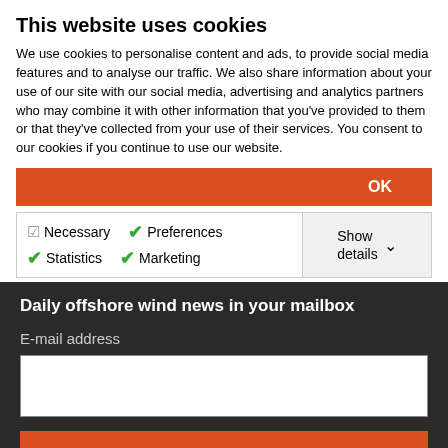This website uses cookies
We use cookies to personalise content and ads, to provide social media features and to analyse our traffic. We also share information about your use of our site with our social media, advertising and analytics partners who may combine it with other information that you've provided to them or that they've collected from your use of their services. You consent to our cookies if you continue to use our website.
OK
Necessary  Preferences  Statistics  Marketing  Show details
Daily offshore wind news in your mailbox
E-mail address
Subscribe